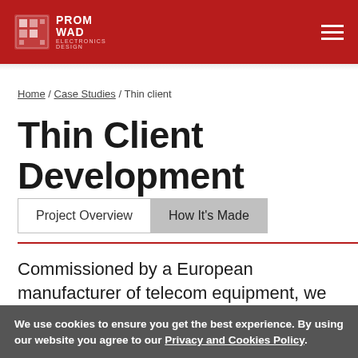PROMWAD ELECTRONICS DESIGN
Home / Case Studies / Thin client
Thin Client Development
Project Overview  How It's Made
Commissioned by a European manufacturer of telecom equipment, we have developed a thin client computer hardware product. This is
We use cookies to ensure you get the best experience. By using our website you agree to our Privacy and Cookies Policy.